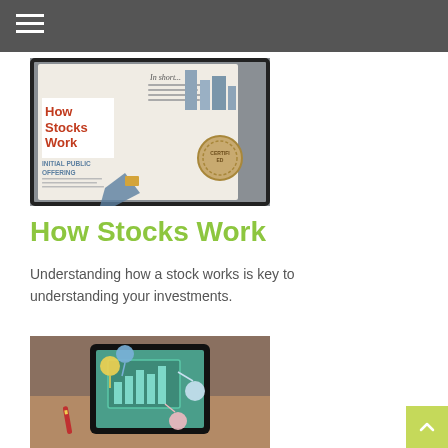[Figure (photo): Infographic booklet titled 'How Stocks Work' showing sections on Initial Public Offering with building imagery and a certified medallion, with text 'In short...' at the top.]
How Stocks Work
Understanding how a stock works is key to understanding your investments.
[Figure (photo): A hand holding a tablet or smartphone displaying a financial chart app with colorful bubble/balloon icons and a bar chart on a teal background.]